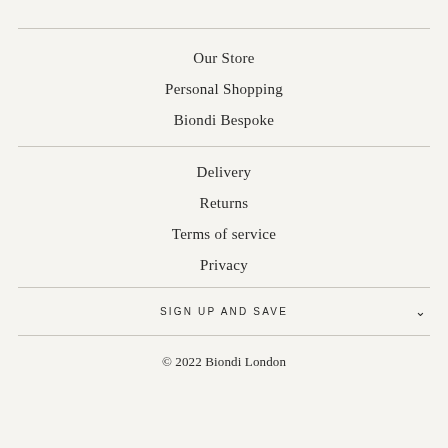Our Store
Personal Shopping
Biondi Bespoke
Delivery
Returns
Terms of service
Privacy
SIGN UP AND SAVE
© 2022 Biondi London